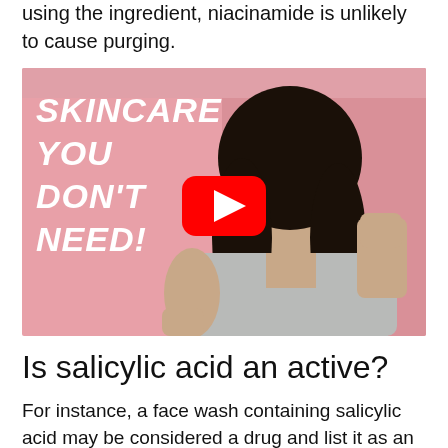using the ingredient, niacinamide is unlikely to cause purging.
[Figure (screenshot): YouTube video thumbnail showing a woman with dark hair giving a thumbs up and thumbs down gesture against a pink background, with white bold italic text reading 'SKINCARE YOU DON'T NEED!' and a red YouTube play button overlay in the center.]
Is salicylic acid an active?
For instance, a face wash containing salicylic acid may be considered a drug and list it as an active ingredient if it claims to actually treat or manage acne. If it's a cosmetic, it may just list salicylic acid among its many